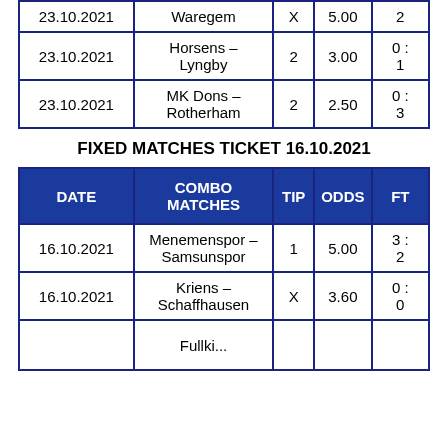| 23.10.2021 | Waregem | X | 5.00 | 2 |
| 23.10.2021 | Horsens – Lyngby | 2 | 3.00 | 0 : 1 |
| 23.10.2021 | MK Dons – Rotherham | 2 | 2.50 | 0 : 3 |
FIXED MATCHES TICKET 16.10.2021
| DATE | COMBO MATCHES | TIP | ODDS | FT |
| --- | --- | --- | --- | --- |
| 16.10.2021 | Menemenspor – Samsunspor | 1 | 5.00 | 3 : 2 |
| 16.10.2021 | Kriens – Schaffhausen | X | 3.60 | 0 : 0 |
|  | Fullk... |  |  |  |